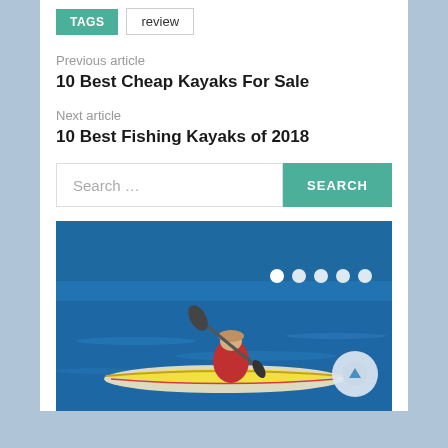TAGS  review
Previous article
10 Best Cheap Kayaks For Sale
Next article
10 Best Fishing Kayaks of 2018
[Figure (screenshot): Search bar with teal SEARCH button]
[Figure (photo): Person paddling a yellow sea kayak on open blue water, with navigation dots and an up-arrow scroll button overlay]